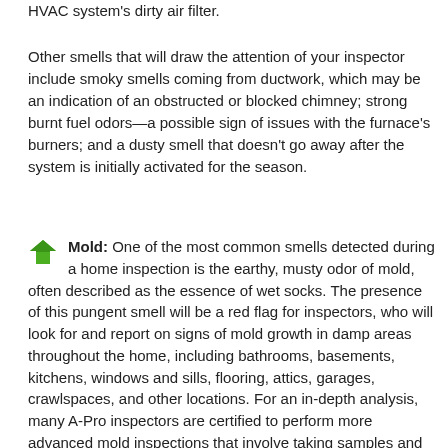HVAC system's dirty air filter.
Other smells that will draw the attention of your inspector include smoky smells coming from ductwork, which may be an indication of an obstructed or blocked chimney; strong burnt fuel odors—a possible sign of issues with the furnace's burners; and a dusty smell that doesn't go away after the system is initially activated for the season.
Mold: One of the most common smells detected during a home inspection is the earthy, musty odor of mold, often described as the essence of wet socks. The presence of this pungent smell will be a red flag for inspectors, who will look for and report on signs of mold growth in damp areas throughout the home, including bathrooms, basements, kitchens, windows and sills, flooring, attics, garages, crawlspaces, and other locations. For an in-depth analysis, many A-Pro inspectors are certified to perform more advanced mold inspections that involve taking samples and having them tested in a laboratory, with recommendations for remediation steps based on the findings.